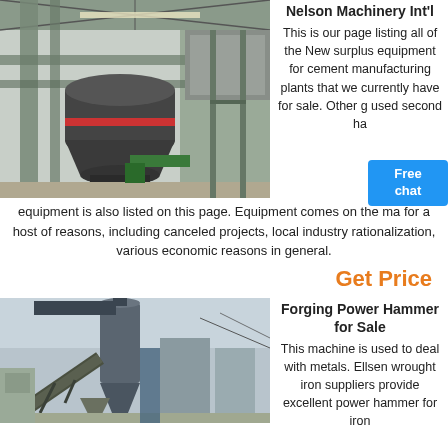[Figure (photo): Industrial cement plant machinery interior showing large cylindrical mill equipment with pipes and dust collectors]
Nelson Machinery Int'l
This is our page listing all of the New surplus equipment for cement manufacturing plants that we currently have for sale. Other good used second hand equipment is also listed on this page.
equipment is also listed on this page. Equipment comes on the market for a host of reasons, including canceled projects, local industry rationalization, various economic reasons in general.
Get Price
[Figure (photo): Industrial outdoor machinery with large vertical cylindrical dust collector/cyclone and conveyor equipment]
Forging Power Hammer for Sale
This machine is used to deal with metals. Ellsen wrought iron suppliers provide excellent power hammer for iron